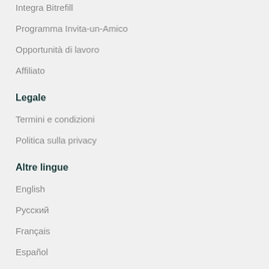Integra Bitrefill
Programma Invita-un-Amico
Opportunità di lavoro
Affiliato
Legale
Termini e condizioni
Politica sulla privacy
Altre lingue
English
Русский
Français
Español
Português